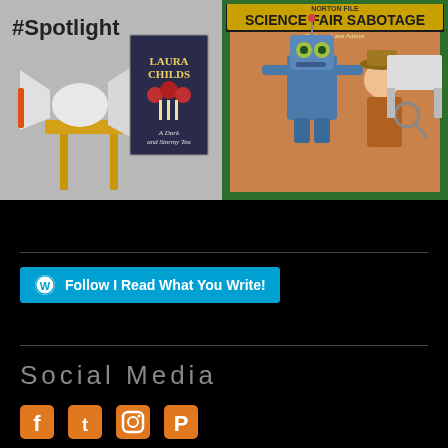[Figure (photo): Left photo: megaphone/bullhorn on a wooden stool with '#Spotlight' text and a book cover 'A Dark and Stormy Tea' by Laura Childs]
[Figure (illustration): Right illustration: Children's book cover 'Science Fair Sabotage' showing a cartoon robot and a boy detective in a brown hat]
[Figure (other): Follow button: WordPress icon followed by text 'Follow I Read What You Write!' on cyan/blue background]
Social Media
[Figure (other): Social media icons: Facebook, Twitter, Instagram, Pinterest in orange color]